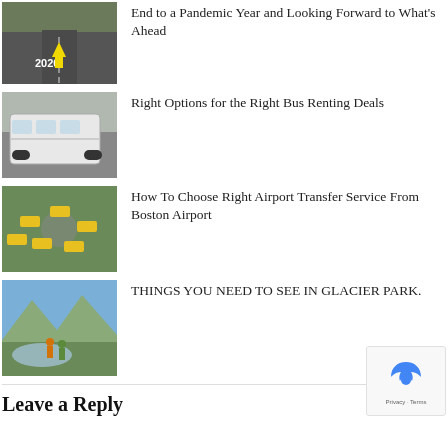[Figure (photo): Road with 2020 markings, aerial view]
End to a Pandemic Year and Looking Forward to What’s Ahead
[Figure (photo): White charter bus parked outdoors]
Right Options for the Right Bus Renting Deals
[Figure (photo): Aerial view of yellow taxis at a roundabout]
How To Choose Right Airport Transfer Service From Boston Airport
[Figure (photo): Two hikers by a mountain lake in Glacier Park]
THINGS YOU NEED TO SEE IN GLACIER PARK.
Leave a Reply